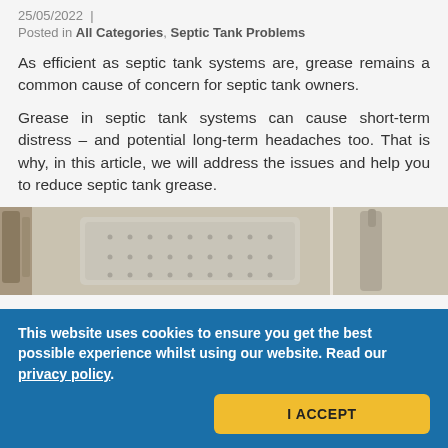25/05/2022  |
Posted in All Categories, Septic Tank Problems
As efficient as septic tank systems are, grease remains a common cause of concern for septic tank owners.
Grease in septic tank systems can cause short-term distress – and potential long-term headaches too. That is why, in this article, we will address the issues and help you to reduce septic tank grease.
[Figure (photo): Photo of a kitchen sink or counter area showing a dish rack/strainer and what appears to be kitchen fixtures, viewed from above]
This website uses cookies to ensure you get the best possible experience whilst using our website. Read our privacy policy.
I ACCEPT